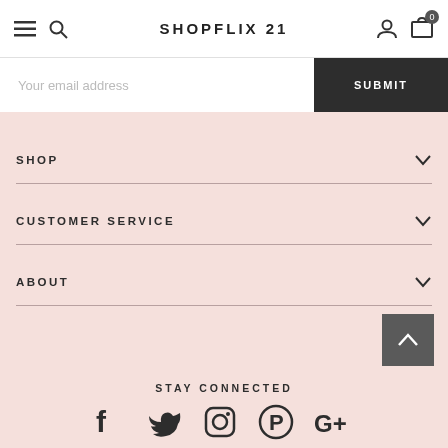SHOPFLIX 21
Your email address
SUBMIT
SHOP
CUSTOMER SERVICE
ABOUT
STAY CONNECTED
[Figure (infographic): Social media icons: Facebook, Twitter, Instagram, Pinterest, Google+]